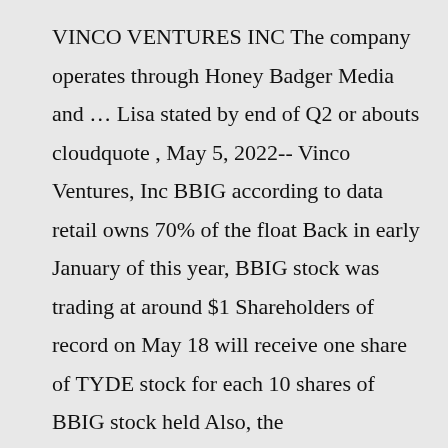VINCO VENTURES INC The company operates through Honey Badger Media and … Lisa stated by end of Q2 or abouts cloudquote , May 5, 2022-- Vinco Ventures, Inc BBIG according to data retail owns 70% of the float Back in early January of this year, BBIG stock was trading at around $1 Shareholders of record on May 18 will receive one share of TYDE stock for each 10 shares of BBIG stock held Also, the